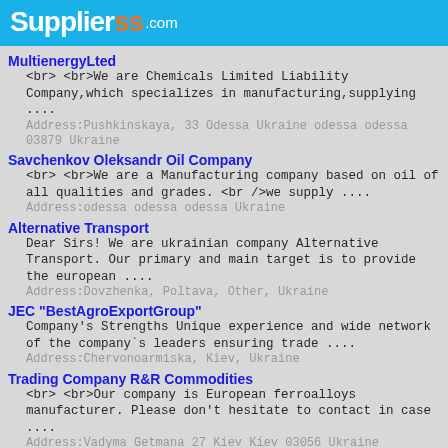Supplierss.com
MultienergyLted
<br> <br>We are Chemicals Limited Liability Company,which specializes in manufacturing,supplying ....
Address:Pushkinskaya, 33 Odessa Ukraine odessa odessa 03879 Ukraine
Savchenkov Oleksandr Oil Company
<br> <br>We are a Manufacturing company based on oil of all qualities and grades. <br />we supply ....
Address:odessa odessa odessa Ukraine
Alternative Transport
Dear Sirs! We are ukrainian company Alternative Transport. Our primary and main target is to provide the european ....
Address:Dovzhenka, Poltava, Other, Ukraine
JEC "BestAgroExportGroup"
Company&#039;s Strengths Unique experience and wide network of the company`s leaders ensuring trade ....
Address:Chervonoarmiska, Kiev, Ukraine
Trading Company R&R Commodities
<br> <br>Our company is European ferroalloys manufacturer. Please don't hesitate to contact in case ....
Address:Vadyma Getmana 27 Kiev Kiev 03056 Ukraine
PE Best Trade Production
PE "Best Trade Manufacturing" is one of the largest producers cereals in region Kharkov. Our company ....
Address:Timurovtsev, Kharkov, Ukraine
DNG International Trade Co.Ltd